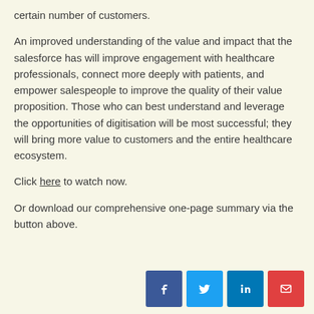certain number of customers.

An improved understanding of the value and impact that the salesforce has will improve engagement with healthcare professionals, connect more deeply with patients, and empower salespeople to improve the quality of their value proposition. Those who can best understand and leverage the opportunities of digitisation will be most successful; they will bring more value to customers and the entire healthcare ecosystem.

Click here to watch now.

Or download our comprehensive one-page summary via the button above.
[Figure (other): Social sharing buttons: Facebook, Twitter, LinkedIn, Email]